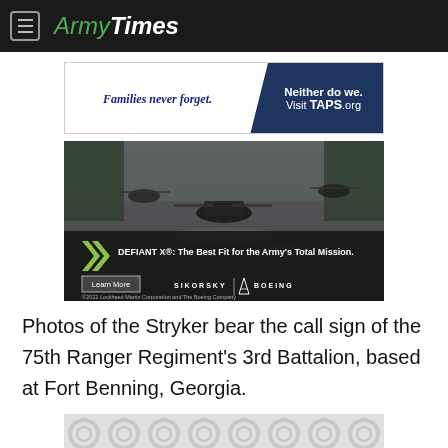ArmyTimes
[Figure (other): Advertisement for TAPS.org: 'Families never forget. Neither do we. Visit TAPS.org']
[Figure (other): Advertisement for Sikorsky-Boeing DEFIANT X helicopter: 'DEFIANT X: The Best Fit for the Army's Total Mission. Learn More. ©2022 Lockheed Martin Corporation and The Boeing Company']
Photos of the Stryker bear the call sign of the 75th Ranger Regiment's 3rd Battalion, based at Fort Benning, Georgia.
[Figure (other): Advertisement placeholder with grey pattern]